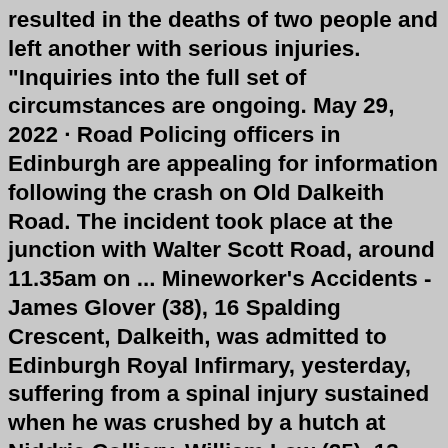resulted in the deaths of two people and left another with serious injuries. "Inquiries into the full set of circumstances are ongoing. May 29, 2022 · Road Policing officers in Edinburgh are appealing for information following the crash on Old Dalkeith Road. The incident took place at the junction with Walter Scott Road, around 11.35am on ... Mineworker's Accidents - James Glover (38), 16 Spalding Crescent, Dalkeith, was admitted to Edinburgh Royal Infirmary, yesterday, suffering from a spinal injury sustained when he was crushed by a hutch at Niddrie Colliery. William Low (25), 13 Galadale, Newtongrange , was admitted suffering from a fractured hip caused by a fall of coal. pokemon go card list pokebeach Mar 18, 2019 · The accident happened at the junction of Mayfield Road and Easthouses Road in Dalkeith at about 13:40 on Friday. The dead woman has been named by police as Margaret McKenzie, who lived in Dalkeith. Property Dalkeith from £ 173, 1 Bedroom Flat to Rent Dalkeith Road, Newington, Edinburgh, EH16. Not to be confused...